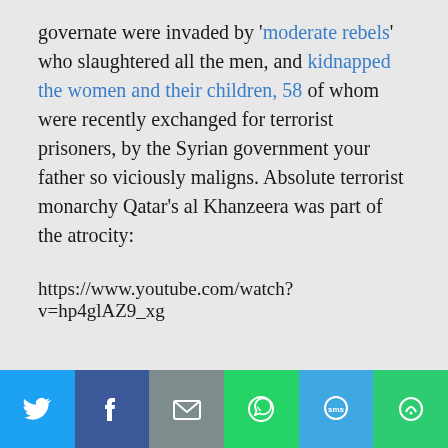governate were invaded by 'moderate rebels' who slaughtered all the men, and kidnapped the women and their children, 58 of whom were recently exchanged for terrorist prisoners, by the Syrian government your father so viciously maligns. Absolute terrorist monarchy Qatar's al Khanzeera was part of the atrocity:

https://www.youtube.com/watch?v=hp4glAZ9_xg
[Figure (infographic): Social media share bar with six buttons: Twitter (blue), Facebook (dark blue), Email (gray), WhatsApp (green), SMS (light blue), More (green)]